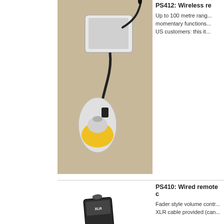[Figure (photo): PS412 wireless remote control device with yellow/white handheld transmitter and black antenna receiver unit on a table]
PS412: Wireless re...
Up to 100 metre rang... momentary functions... US customers: this it...
[Figure (photo): PS410 wired remote control, black fader-style volume control panel with XLR connection]
PS410: Wired remote c...
Fader style volume contr... XLR cable provided (can...
[Figure (photo): PS4... fluid containers: 5L, 2.5L, and 500ml white plastic jugs with red labels]
PS4... Fluid...
For t...